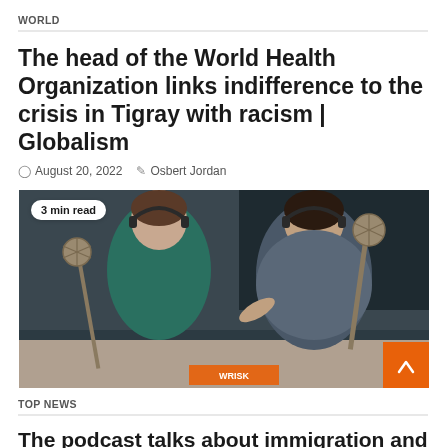WORLD
The head of the World Health Organization links indifference to the crisis in Tigray with racism | Globalism
August 20, 2022  Osbert Jordan
[Figure (photo): Two women in a podcast studio wearing headphones and speaking into microphones, with a '3 min read' badge overlay]
TOP NEWS
The podcast talks about immigration and